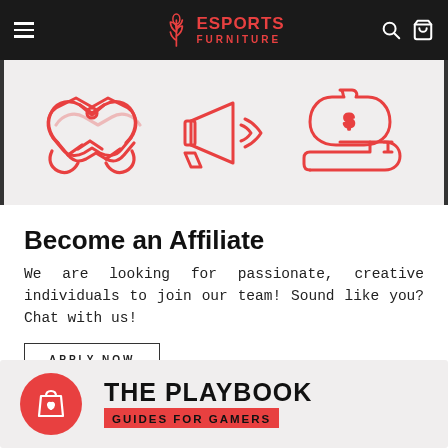Esports Furniture — navigation header
[Figure (illustration): Three red line icons on light grey background: handshake, megaphone with sound waves, and hand holding a money bag with dollar sign]
Become an Affiliate
We are looking for passionate, creative individuals to join our team! Sound like you? Chat with us!
APPLY NOW
[Figure (illustration): The Playbook – Guides for Gamers banner with red circle shopping bag icon on left and bold title text on right with red highlight behind subtitle]